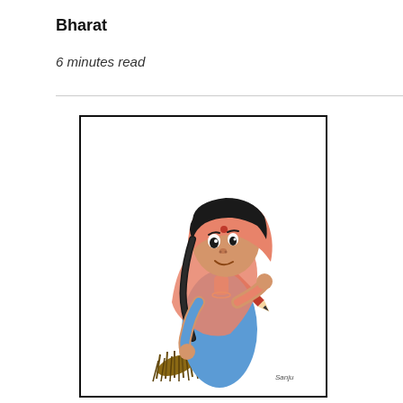Bharat
6 minutes read
[Figure (illustration): Cartoon illustration of an Indian woman/girl wearing a pink dupatta (head covering) and blue salwar kameez, holding a broom in one hand and a pencil in the other. She has a red bindi on her forehead, black hair in a braid, and is looking upward with a slight smile. Artist signature visible at the bottom right.]